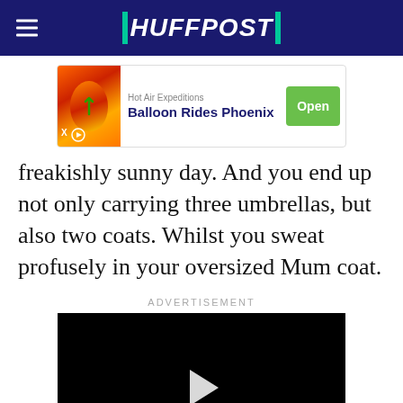HUFFPOST
[Figure (other): Advertisement banner for Hot Air Expeditions - Balloon Rides Phoenix with Open button]
freakishly sunny day. And you end up not only carrying three umbrellas, but also two coats. Whilst you sweat profusely in your oversized Mum coat.
ADVERTISEMENT
[Figure (other): Video player with black background and white play button triangle, with Learn more button below]